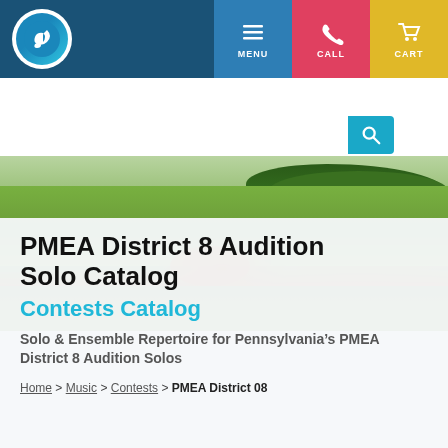[Figure (screenshot): Website navigation bar with blue background, circular music logo on left, and MENU, CALL, CART buttons on right]
[Figure (photo): Landscape hero image showing green fields with orange/red flowers and trees in background]
PMEA District 8 Audition Solo Catalog
Contests Catalog
Solo & Ensemble Repertoire for Pennsylvania’s PMEA District 8 Audition Solos
Home > Music > Contests > PMEA District 08